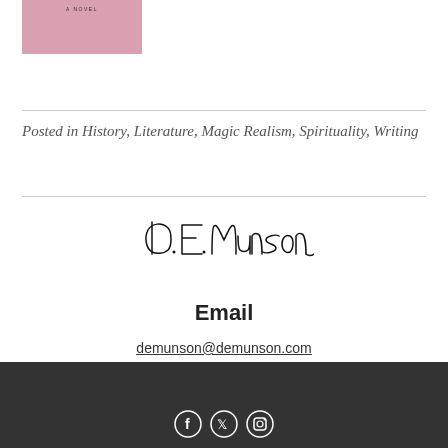[Figure (illustration): Book cover thumbnail with pink/mauve background and small text reading 'A NOVEL']
Posted in History, Literature, Magic Realism, Spirituality, Writing
[Figure (illustration): Handwritten cursive signature reading 'D. E. Munson']
Email
demunson@demunson.com
Social media icons (Facebook, Twitter/X, Instagram) on dark background